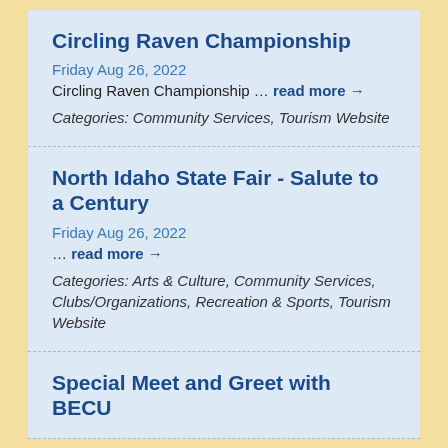Circling Raven Championship
Friday Aug 26, 2022
Circling Raven Championship … read more →
Categories: Community Services, Tourism Website
North Idaho State Fair - Salute to a Century
Friday Aug 26, 2022
… read more →
Categories: Arts & Culture, Community Services, Clubs/Organizations, Recreation & Sports, Tourism Website
Special Meet and Greet with BECU